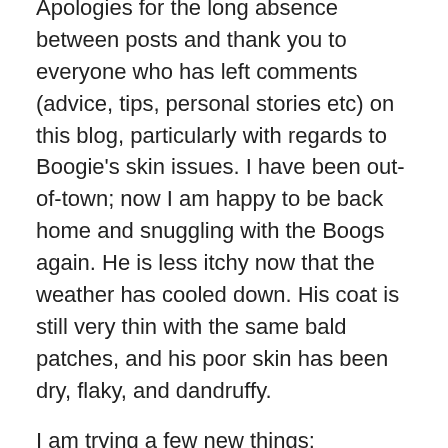Apologies for the long absence between posts and thank you to everyone who has left comments (advice, tips, personal stories etc) on this blog, particularly with regards to Boogie's skin issues. I have been out-of-town; now I am happy to be back home and snuggling with the Boogs again. He is less itchy now that the weather has cooled down. His coat is still very thin with the same bald patches, and his poor skin has been dry, flaky, and dandruffy.
I am trying a few new things:
No chicken in his diet at all. He has been eating lamb and/or fish-based meals. It has only been 1 week… I can't tell if there is any difference.
Adding Pet Kelp to his food. 3 weeks, now. Can't tell if this is making any difference with his skin, but his poop is looking very good!